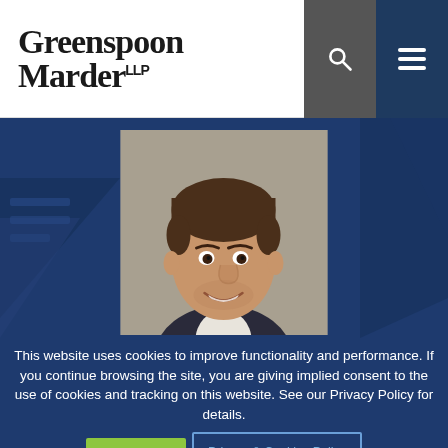[Figure (logo): Greenspoon Marder LLP law firm logo with search and hamburger menu icons on dark background]
[Figure (photo): Professional headshot of a smiling middle-aged man with dark hair, wearing a dark suit, against a gray background, on a blue decorative background]
This website uses cookies to improve functionality and performance. If you continue browsing the site, you are giving implied consent to the use of cookies and tracking on this website. See our Privacy Policy for details.
Privacy & Cookies Policy